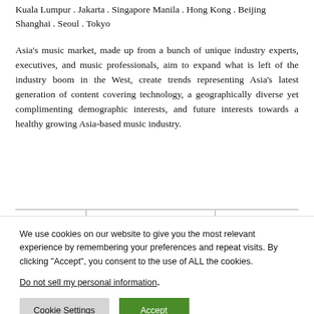Kuala Lumpur . Jakarta . Singapore Manila . Hong Kong . Beijing Shanghai . Seoul . Tokyo
Asia’s music market, made up from a bunch of unique industry experts, executives, and music professionals, aim to expand what is left of the industry boom in the West, create trends representing Asia’s latest generation of content covering technology, a geographically diverse yet complimenting demographic interests, and future interests towards a healthy growing Asia-based music industry.
| LET'S TALK MUSIC | Editor’s Pick EDITORIAL / Feature | News / Technology |
| --- | --- | --- |
We use cookies on our website to give you the most relevant experience by remembering your preferences and repeat visits. By clicking “Accept”, you consent to the use of ALL the cookies.
Do not sell my personal information.